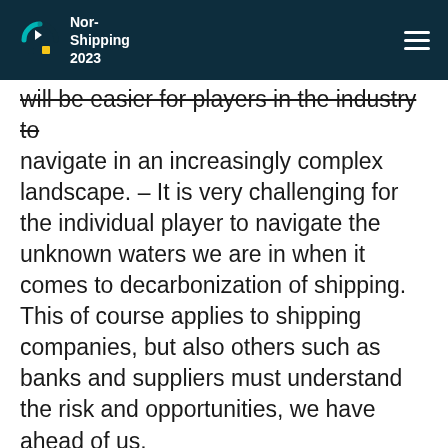Nor-Shipping 2023
will be easier for players in the industry to navigate in an increasingly complex landscape. – It is very challenging for the individual player to navigate the unknown waters we are in when it comes to decarbonization of shipping. This of course applies to shipping companies, but also others such as banks and suppliers must understand the risk and opportunities, we have ahead of us.
The handbook from Maritime Bergen is a very useful tool for working with this in a